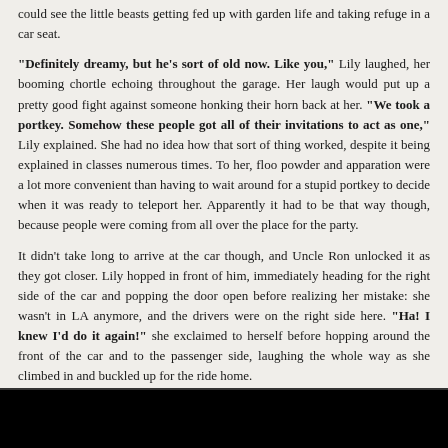could see the little beasts getting fed up with garden life and taking refuge in a car seat.
“Definitely dreamy, but he’s sort of old now. Like you,” Lily laughed, her booming chortle echoing throughout the garage. Her laugh would put up a pretty good fight against someone honking their horn back at her. “We took a portkey. Somehow these people got all of their invitations to act as one,” Lily explained. She had no idea how that sort of thing worked, despite it being explained in classes numerous times. To her, floo powder and apparation were a lot more convenient than having to wait around for a stupid portkey to decide when it was ready to teleport her. Apparently it had to be that way though, because people were coming from all over the place for the party.
It didn’t take long to arrive at the car though, and Uncle Ron unlocked it as they got closer. Lily hopped in front of him, immediately heading for the right side of the car and popping the door open before realizing her mistake: she wasn’t in LA anymore, and the drivers were on the right side here. “Ha! I knew I’d do it again!” she exclaimed to herself before hopping around the front of the car and to the passenger side, laughing the whole way as she climbed in and buckled up for the ride home.